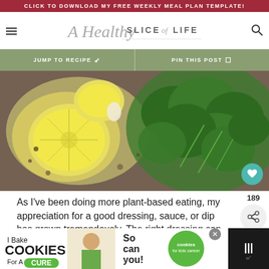CLICK TO DOWNLOAD MY FREE WEEKLY MEAL PLAN TEMPLATE!
A Healthy Slice of Life
JUMP TO RECIPE    PIN THIS POST
[Figure (photo): Overhead photo of lemon slices and fresh parsley herbs on a dark speckled surface]
As I've been doing more plant-based eating, my appreciation for a good dressing, sauce, or dip has grown tremendously. The right dressing can turn any ordinary...
[Figure (other): I Bake Cookies For A Cure advertisement banner with Haldora, 11 Cancer Survivor]